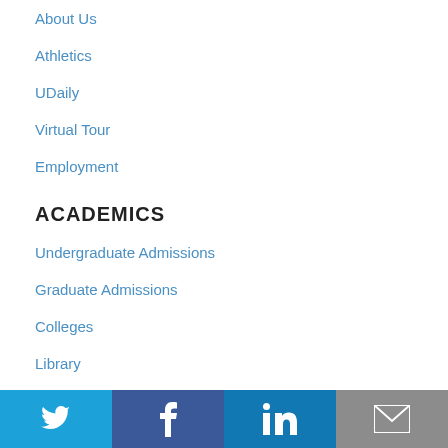About Us
Athletics
UDaily
Virtual Tour
Employment
ACADEMICS
Undergraduate Admissions
Graduate Admissions
Colleges
Library
Research
SERVICES
Accessibility Notice
People Directory
My UD
[Figure (infographic): Social media icon bar with Twitter (blue), Facebook (dark blue), LinkedIn (blue), and Email (gray) buttons]